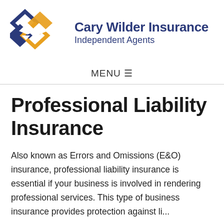[Figure (logo): Cary Wilder Insurance logo: interlocked diamond shapes in navy blue and golden yellow, with company name and tagline]
MENU ☰
Professional Liability Insurance
Also known as Errors and Omissions (E&O) insurance, professional liability insurance is essential if your business is involved in rendering professional services. This type of business insurance provides protection against li...